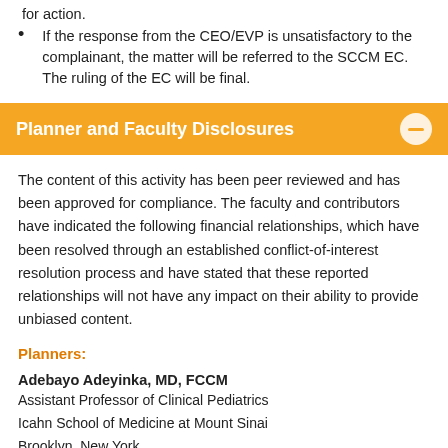for action.
If the response from the CEO/EVP is unsatisfactory to the complainant, the matter will be referred to the SCCM EC. The ruling of the EC will be final.
Planner and Faculty Disclosures
The content of this activity has been peer reviewed and has been approved for compliance. The faculty and contributors have indicated the following financial relationships, which have been resolved through an established conflict-of-interest resolution process and have stated that these reported relationships will not have any impact on their ability to provide unbiased content.
Planners:
Adebayo Adeyinka, MD, FCCM
Assistant Professor of Clinical Pediatrics
Icahn School of Medicine at Mount Sinai
Brooklyn, New York